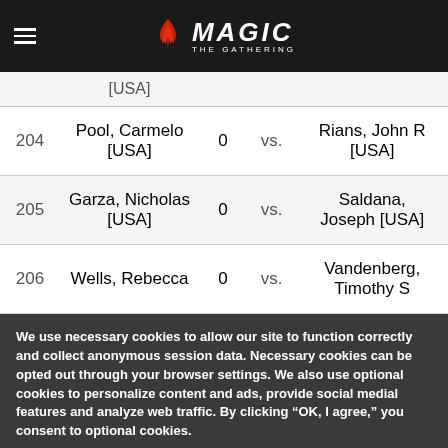Magic: The Gathering
| # | Player 1 | Score | vs. | Player 2 |
| --- | --- | --- | --- | --- |
|  | [USA] |  |  |  |
| 204 | Pool, Carmelo [USA] | 0 | vs. | Rians, John R [USA] |
| 205 | Garza, Nicholas [USA] | 0 | vs. | Saldana, Joseph [USA] |
| 206 | Wells, Rebecca | 0 | vs. | Vandenberg, Timothy S |
We use necessary cookies to allow our site to function correctly and collect anonymous session data. Necessary cookies can be opted out through your browser settings. We also use optional cookies to personalize content and ads, provide social medial features and analyze web traffic. By clicking “OK, I agree,” you consent to optional cookies.
(Learn more about cookies.)
OK, I agree   No, thanks